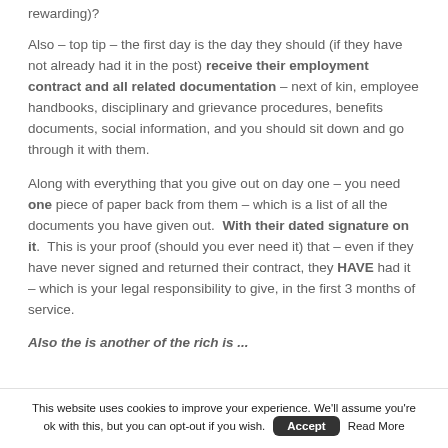rewarding)?
Also – top tip – the first day is the day they should (if they have not already had it in the post) receive their employment contract and all related documentation – next of kin, employee handbooks, disciplinary and grievance procedures, benefits documents, social information, and you should sit down and go through it with them.
Along with everything that you give out on day one – you need one piece of paper back from them – which is a list of all the documents you have given out. With their dated signature on it. This is your proof (should you ever need it) that – even if they have never signed and returned their contract, they HAVE had it – which is your legal responsibility to give, in the first 3 months of service.
Also the is another of the rich is...
This website uses cookies to improve your experience. We'll assume you're ok with this, but you can opt-out if you wish. Accept Read More